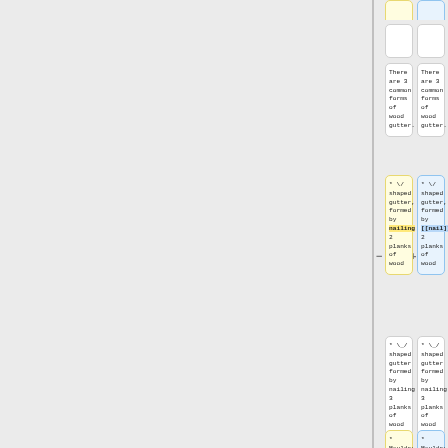There are 3 common forms of wood gutter.
There are 3 common forms of wood gutter.
* \/ shaped gutter, formed by nailing 2 planks of wood
* \/ shaped gutter, formed by [[nail]]ing 2 planks of wood
* \_/ shaped gutter formed by nailing 3 planks of wood
* \_/ shaped gutter formed by nailing 3 planks of wood
* Moulded
* Moulded